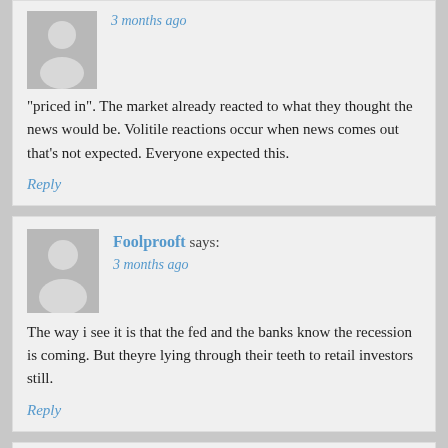3 months ago
"priced in". The market already reacted to what they thought the news would be. Volitile reactions occur when news comes out that's not expected. Everyone expected this.
Reply
Foolprooft says:
3 months ago
The way i see it is that the fed and the banks know the recession is coming. But theyre lying through their teeth to retail investors still.
Reply
icemanredbaron says:
3 months ago